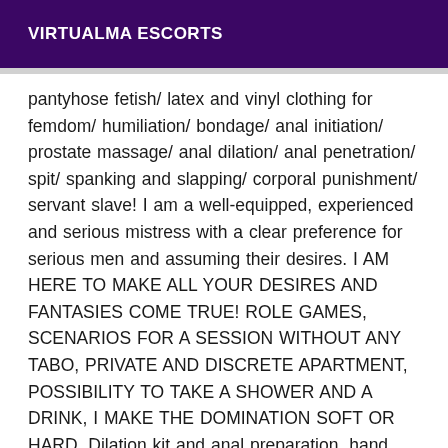VIRTUALMA ESCORTS
pantyhose fetish/ latex and vinyl clothing for femdom/ humiliation/ bondage/ anal initiation/ prostate massage/ anal dilation/ anal penetration/ spit/ spanking and slapping/ corporal punishment/ servant slave! I am a well-equipped, experienced and serious mistress with a clear preference for serious men and assuming their desires. I AM HERE TO MAKE ALL YOUR DESIRES AND FANTASIES COME TRUE! ROLE GAMES, SCENARIOS FOR A SESSION WITHOUT ANY TABO, PRIVATE AND DISCRETE APARTMENT, POSSIBILITY TO TAKE A SHOWER AND A DRINK, I MAKE THE DOMINATION SOFT OR HARD, Dilation kit and anal preparation, hand dildo, belt dildo, vibrating dildo, prostate massager dildo, codes for edging, candles, headband, handcuffs, whip, gag, nipple clamps, love toys, feather duster, swift, mask and hood, poppers, fur ball, anal plug, necklaces, whip, worship, I'm really